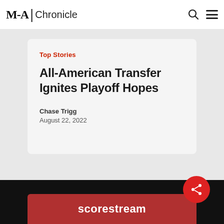M-A Chronicle
Top Stories
All-American Transfer Ignites Playoff Hopes
Chase Trigg
August 22, 2022
[Figure (logo): Scorestream logo on dark red banner at bottom of page]